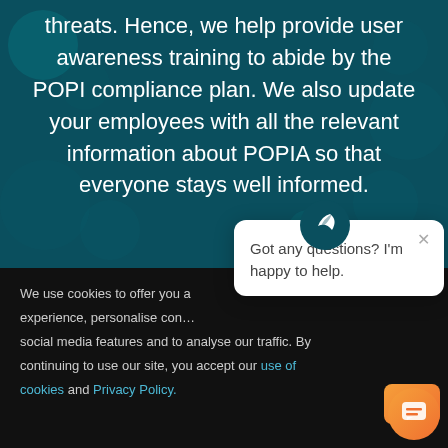threats. Hence, we help provide user awareness training to abide by the POPI compliance plan. We also update your employees with all the relevant information about POPIA so that everyone stays well informed.
We use cookies to offer you a better experience, personalise content, provide social media features and to analyse our traffic. By continuing to use our site, you accept our use of cookies and Privacy Policy.
[Figure (screenshot): Chat bot popup with message: Got any questions? I'm happy to help. Has a close X button, an OK button, and a chat bubble icon.]